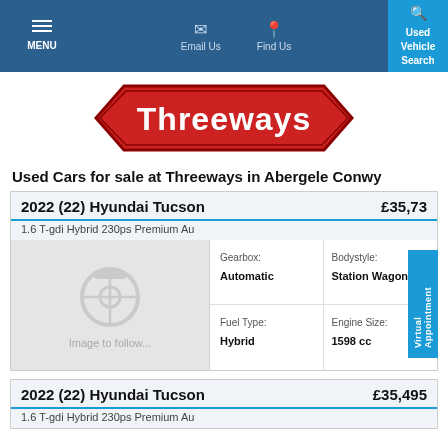MENU | Email Us | Find Us | Used Vehicle Search
[Figure (logo): Threeways logo — red octagon-shaped badge with white bold text reading Threeways]
Used Cars for sale at Threeways in Abergele Conwy
| Car | Price | Gearbox | Bodystyle | Fuel Type | Engine Size |
| --- | --- | --- | --- | --- | --- |
| 2022 (22) Hyundai Tucson 1.6 T-gdi Hybrid 230ps Premium Au | £35,73* | Automatic | Station Wagon | Hybrid | 1598 cc |
| Car | Price |
| --- | --- |
| 2022 (22) Hyundai Tucson 1.6 T-gdi Hybrid 230ps Premium Au | £35,495 |